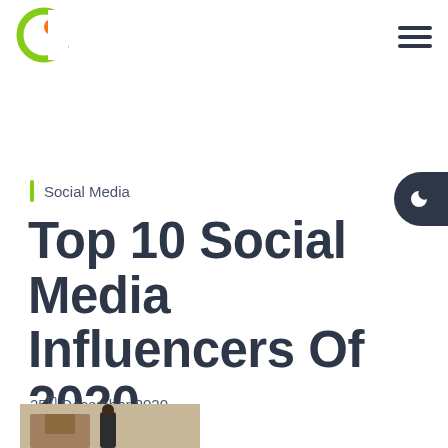[Figure (logo): Green and orange circular logo resembling the letter C with an orange dot in the center]
[Figure (other): Hamburger menu icon (three horizontal dark lines)]
[Figure (other): Dark mode toggle button - dark rounded shape on right edge with crescent moon icon]
Social Media
Top 10 Social Media Influencers Of 2020
25th December 2020
[Figure (photo): Partial photo at bottom showing a person standing in front of a building]